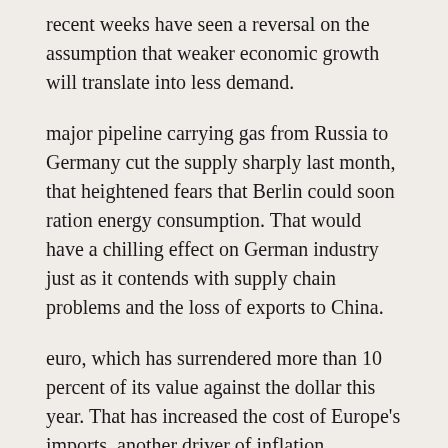recent weeks have seen a reversal on the assumption that weaker economic growth will translate into less demand.
major pipeline carrying gas from Russia to Germany cut the supply sharply last month, that heightened fears that Berlin could soon ration energy consumption. That would have a chilling effect on German industry just as it contends with supply chain problems and the loss of exports to China.
euro, which has surrendered more than 10 percent of its value against the dollar this year. That has increased the cost of Europe's imports, another driver of inflation.
ports from the United States to Europe to China.
"E...